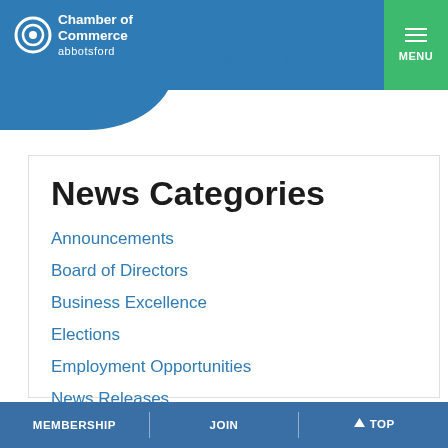Chamber of Commerce abbotsford
News Categories
Announcements
Board of Directors
Business Excellence
Elections
Employment Opportunities
News Releases
President's Update
MEMBERSHIP | JOIN | TOP